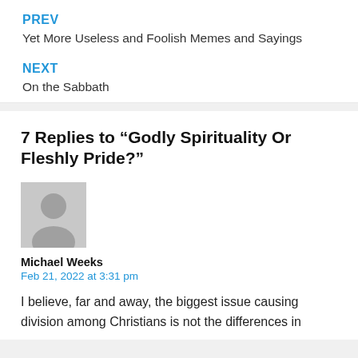PREV
Yet More Useless and Foolish Memes and Sayings
NEXT
On the Sabbath
7 Replies to “Godly Spirituality Or Fleshly Pride?”
[Figure (photo): Generic grey avatar placeholder image of a person silhouette]
Michael Weeks
Feb 21, 2022 at 3:31 pm
I believe, far and away, the biggest issue causing division among Christians is not the differences in